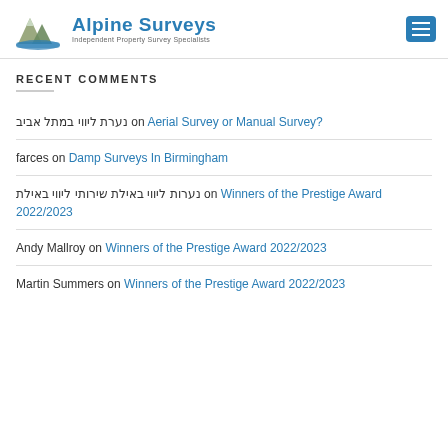Alpine Surveys — Independent Property Survey Specialists
RECENT COMMENTS
נערת ליווי במתל אביב on Aerial Survey or Manual Survey?
farces on Damp Surveys In Birmingham
נערות ליווי באילת שירותי ליווי באילת on Winners of the Prestige Award 2022/2023
Andy Mallroy on Winners of the Prestige Award 2022/2023
Martin Summers on Winners of the Prestige Award 2022/2023